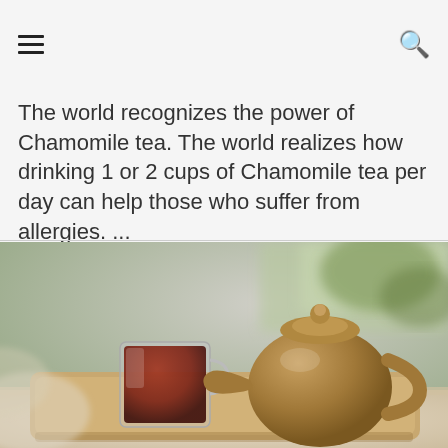hamburger menu | search icon
The world recognizes the power of Chamomile tea. The world realizes how drinking 1 or 2 cups of Chamomile tea per day can help those who suffer from allergies. ...
[Figure (photo): A glass cup of red/brown tea and a clay teapot sitting on a wooden bamboo tray, photographed on a table with a blurred background featuring greenery.]